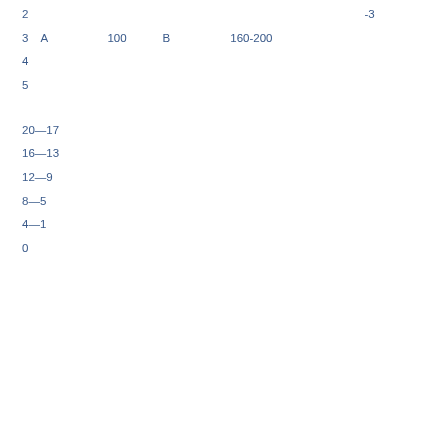2　　　　　　　　　　　　　　　　　　　　　　　　　　　　　　　　　　　　　　　　　　-3
3　A　　　　　　　　100　　　　B　　　　　　　　160-200
4
5
20—17
16—13
12—9
8—5
4—1
0